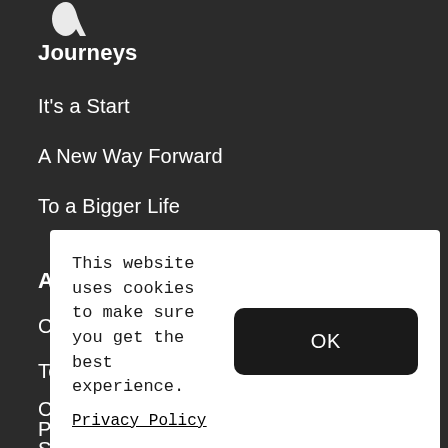[Figure (logo): Partial white logo/icon at top left on dark background]
Journeys
It's a Start
A New Way Forward
To a Bigger Life
A Bigger Life
Contact us
Terms & Conditions
C
P
S
This website uses cookies to make sure you get the best experience.
Privacy Policy
OK